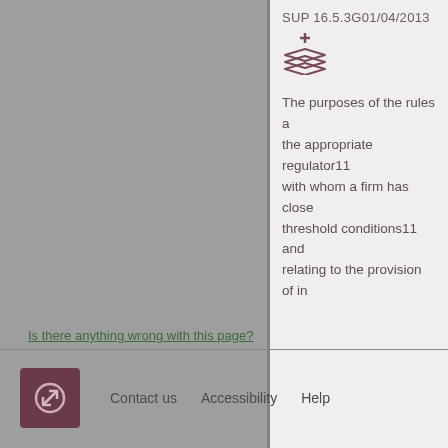SUP 16.5.3G01/04/2013
The purposes of the rules a the appropriate regulator11 with whom a firm has close threshold conditions11 and relating to the provision of in
Is there anything wrong with this page?
Contact us    Accessibility    Help